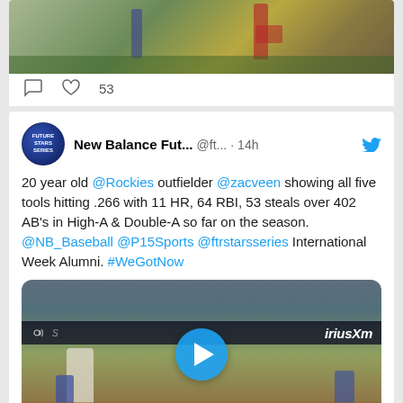[Figure (photo): Top portion of a tweet card showing a baseball game photo (partial, cropped at top)]
53 (likes count with heart and comment icons)
New Balance Fut... @ft... · 14h
20 year old @Rockies outfielder @zacveen showing all five tools hitting .266 with 11 HR, 64 RBI, 53 steals over 402 AB's in High-A & Double-A so far on the season. @NB_Baseball @P15Sports @ftrstarsseries International Week Alumni. #WeGotNow
[Figure (photo): Baseball game video thumbnail showing players at bat with a play button overlay. SiriusXM advertisement visible in background.]